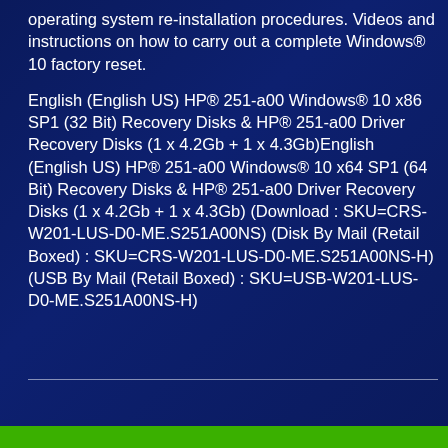operating system re-installation procedures. Videos and instructions on how to carry out a complete Windows® 10 factory reset.
English (English US) HP® 251-a00 Windows® 10 x86 SP1 (32 Bit) Recovery Disks & HP® 251-a00 Driver Recovery Disks (1 x 4.2Gb + 1 x 4.3Gb)English (English US) HP® 251-a00 Windows® 10 x64 SP1 (64 Bit) Recovery Disks & HP® 251-a00 Driver Recovery Disks (1 x 4.2Gb + 1 x 4.3Gb) (Download : SKU=CRS-W201-LUS-D0-ME.S251A00NS) (Disk By Mail (Retail Boxed) : SKU=CRS-W201-LUS-D0-ME.S251A00NS-H) (USB By Mail (Retail Boxed) : SKU=USB-W201-LUS-D0-ME.S251A00NS-H)